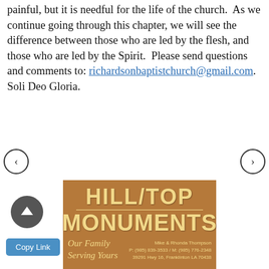painful, but it is needful for the life of the church.  As we continue going through this chapter, we will see the difference between those who are led by the flesh, and those who are led by the Spirit.  Please send questions and comments to: richardsonbaptistchurch@gmail.com.  Soli Deo Gloria.
[Figure (other): Navigation left arrow button (circle with <)]
[Figure (other): Navigation right arrow button (circle with >)]
[Figure (logo): Hilltop Monuments advertisement. Brown/tan background with gold text reading HILLTOP MONUMENTS. Tagline: Our Family Serving Yours. Contact: Mike & Rhonda Thompson, P: (985) 839-3533 / M: (985) 776-2348, 39291 Hwy 16, Franklinton LA 70438]
[Figure (other): Scroll to top circular button with upward arrow]
Copy Link